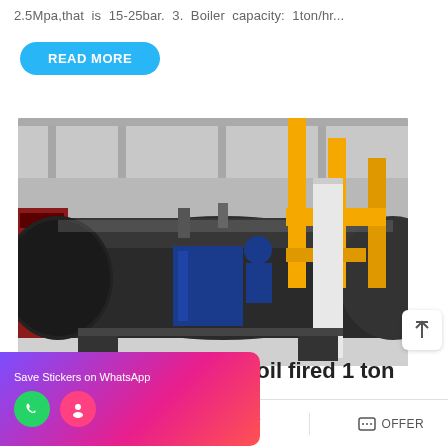2.5Mpa,that is 15-25bar. 3. Boiler capacity: 1ton/hr...
READ MORE
[Figure (photo): Industrial boiler room showing a large horizontal cylindrical steam boiler (dark/stainless steel) with yellow gas pipes on the right and red control panel on the left, inside a factory building.]
Save Stickers on WhatsApp
e oil fired 1 ton boiler
MAIL  ADVISORY  OFFER